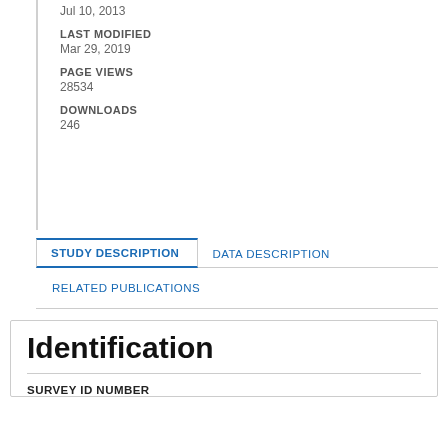Jul 10, 2013
LAST MODIFIED
Mar 29, 2019
PAGE VIEWS
28534
DOWNLOADS
246
STUDY DESCRIPTION
DATA DESCRIPTION
RELATED PUBLICATIONS
Identification
SURVEY ID NUMBER